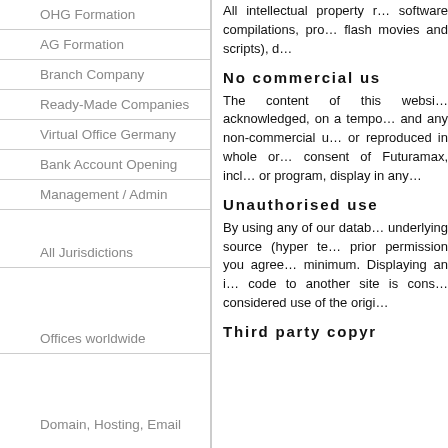OHG Formation
AG Formation
Branch Company
Ready-Made Companies
Virtual Office Germany
Bank Account Opening
Management / Admin
All Jurisdictions
Offices worldwide
Domain, Hosting, Email
All intellectual property r… software compilations, pro… flash movies and scripts), d…
No commercial us
The content of this websi… acknowledged, on a tempo… and any non-commercial u… or reproduced in whole or … consent of Futuramax, incl… or program, display in any …
Unauthorised use
By using any of our datab… underlying source (hyper te… prior permission you agree… minimum. Displaying an i… code to another site is cons… considered use of the origi…
Third party copyr